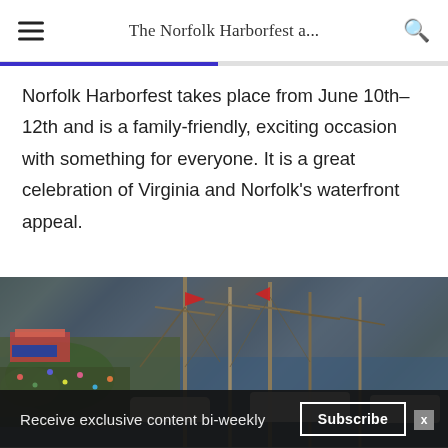The Norfolk Harborfest a...
Norfolk Harborfest takes place from June 10th–12th and is a family-friendly, exciting occasion with something for everyone. It is a great celebration of Virginia and Norfolk's waterfront appeal.
[Figure (photo): Aerial/overhead view of Norfolk Harborfest showing tall ships with masts docked at waterfront, crowds of people on shore, colorful festival tents and signage including 'Virginia' banner, boats packed in harbor.]
Receive exclusive content bi-weekly
Subscribe